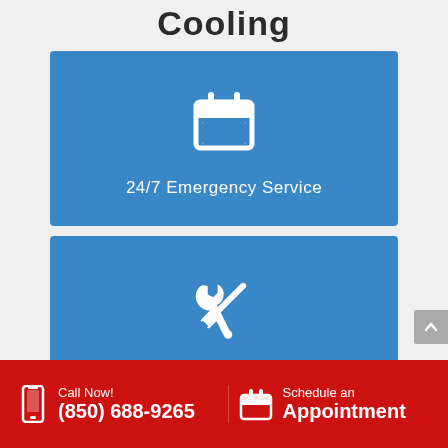Cooling
[Figure (illustration): Blue card with calendar icon and text '24/7 Emergency Service']
[Figure (illustration): Blue card with wrench/screwdriver crossed tools icon and text 'Certified Technicians']
Call Now! (850) 688-9265
Schedule an Appointment